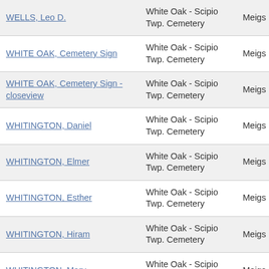| WELLS, Leo D. | White Oak - Scipio Twp. Cemetery | Meigs |
| WHITE OAK, Cemetery Sign | White Oak - Scipio Twp. Cemetery | Meigs |
| WHITE OAK, Cemetery Sign - closeview | White Oak - Scipio Twp. Cemetery | Meigs |
| WHITINGTON, Daniel | White Oak - Scipio Twp. Cemetery | Meigs |
| WHITINGTON, Elmer | White Oak - Scipio Twp. Cemetery | Meigs |
| WHITINGTON, Esther | White Oak - Scipio Twp. Cemetery | Meigs |
| WHITINGTON, Hiram | White Oak - Scipio Twp. Cemetery | Meigs |
| WHITINGTON, Mary | White Oak - Scipio Twp. Cemetery | Meigs |
| WHITINGTON, Mary A. | White Oak - Scipio Twp. Cemetery | Meigs |